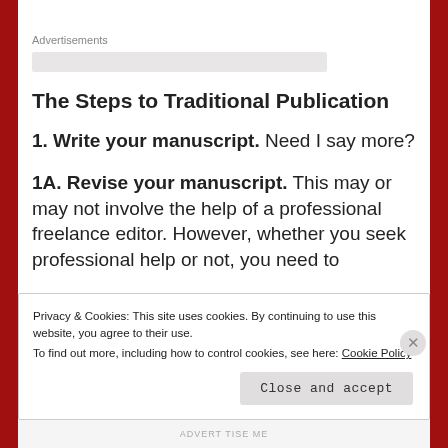Advertisements
The Steps to Traditional Publication
1. Write your manuscript. Need I say more?
1A. Revise your manuscript. This may or may not involve the help of a professional freelance editor. However, whether you seek professional help or not, you need to
Privacy & Cookies: This site uses cookies. By continuing to use this website, you agree to their use.
To find out more, including how to control cookies, see here: Cookie Policy
Close and accept